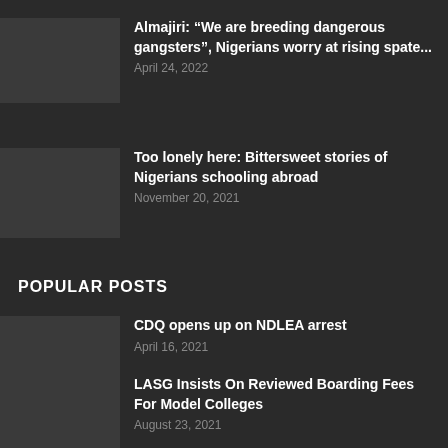Almajiri: “We are breeding dangerous gangsters”, Nigerians worry at rising spate...
April 24, 2022
Too lonely here: Bittersweet stories of Nigerians schooling abroad
November 20, 2021
POPULAR POSTS
CDQ opens up on NDLEA arrest
April 16, 2021
LASG Insists On Reviewed Boarding Fees For Model Colleges
August 23, 2021